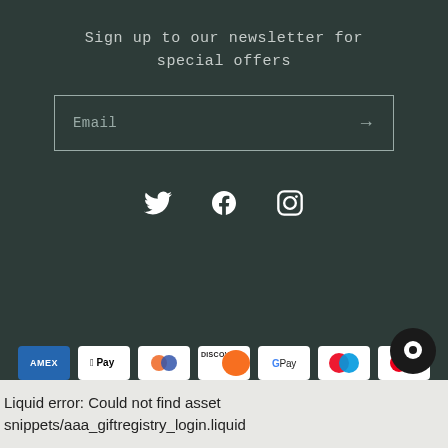Sign up to our newsletter for special offers
Email
[Figure (infographic): Social media icons: Twitter, Facebook, Instagram in white on dark teal background]
[Figure (infographic): Payment method logos: American Express, Apple Pay, Diners Club, Discover, Google Pay, Maestro, Mastercard, PayPal, Shop Pay, Visa]
© 2022. Leather Delights Powered by Shopify
Liquid error: Could not find asset snippets/aaa_giftregistry_login.liquid